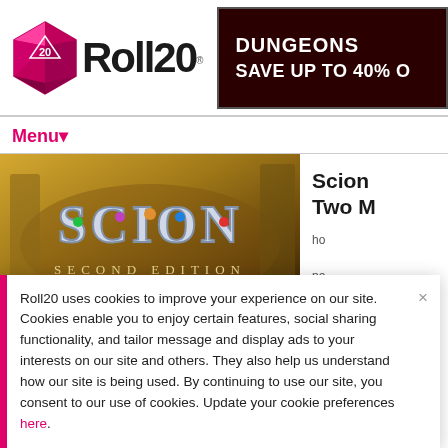[Figure (logo): Roll20 logo with pink icosahedron die and bold 'Roll20' text]
[Figure (infographic): Dark red advertisement banner with text 'DUNGEONS' and 'SAVE UP TO 40%']
Menu▼
[Figure (illustration): Scion Second Edition game banner image with fantasy art and stone lettering]
Scion Two M
Roll20 uses cookies to improve your experience on our site. Cookies enable you to enjoy certain features, social sharing functionality, and tailor message and display ads to your interests on our site and others. They also help us understand how our site is being used. By continuing to use our site, you consent to our use of cookies. Update your cookie preferences here.